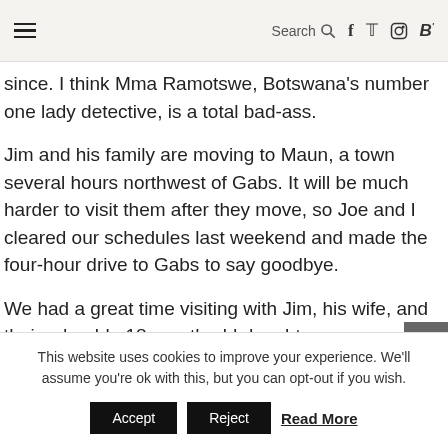☰  Search 🔍  f  t  Instagram  B'
since. I think Mma Ramotswe, Botswana's number one lady detective, is a total bad-ass.
Jim and his family are moving to Maun, a town several hours northwest of Gabs. It will be much harder to visit them after they move, so Joe and I cleared our schedules last weekend and made the four-hour drive to Gabs to say goodbye.
We had a great time visiting with Jim, his wife, and their adorable 18-month-old daughter.
This website uses cookies to improve your experience. We'll assume you're ok with this, but you can opt-out if you wish.  Accept  Reject  Read More